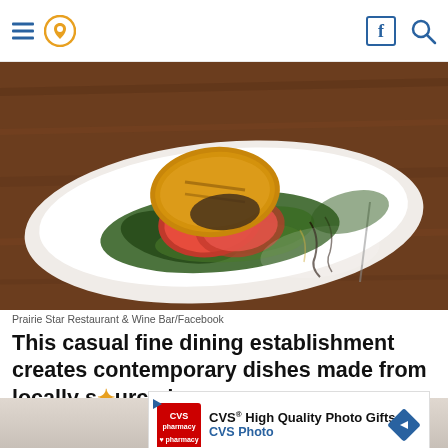Navigation header with hamburger menu, location pin icon, Facebook icon, and search icon
[Figure (photo): Close-up photo of a plated dish on a white rectangular plate: a golden-crusted protein (possibly chicken or fish) on top of sliced tomatoes and mixed greens salad, drizzled with balsamic reduction, served on a wooden table background.]
Prairie Star Restaurant & Wine Bar/Facebook
This casual fine dining establishment creates contemporary dishes made from locally sourced ingred...lly to only u...
[Figure (infographic): CVS High Quality Photo Gifts advertisement overlay showing CVS Pharmacy logo, text 'CVS® High Quality Photo Gifts' and 'CVS Photo', with a blue diamond navigation arrow icon.]